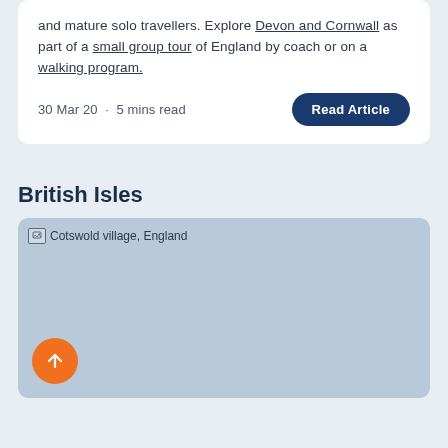and mature solo travellers. Explore Devon and Cornwall as part of a small group tour of England by coach or on a walking program.
30 Mar 20 · 5 mins read
Read Article
British Isles
[Figure (photo): Cotswold village, England — placeholder image with light blue-grey background]